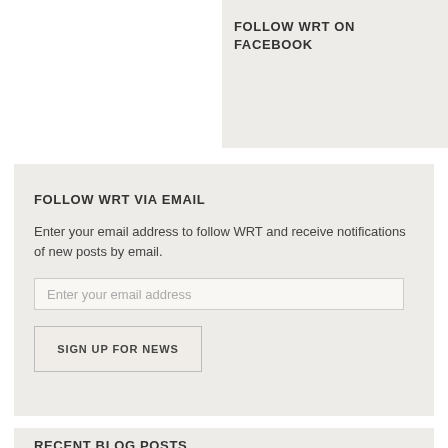FOLLOW WRT ON FACEBOOK
FOLLOW WRT VIA EMAIL
Enter your email address to follow WRT and receive notifications of new posts by email.
Enter your email address
SIGN UP FOR NEWS
RECENT BLOG POSTS
Workday Scheduled for August 27